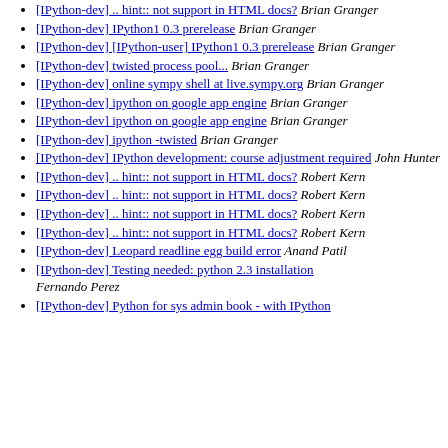[IPython-dev] .. hint:: not support in HTML docs?  Brian Granger
[IPython-dev] IPython1 0.3 prerelease  Brian Granger
[IPython-dev] [IPython-user] IPython1 0.3 prerelease  Brian Granger
[IPython-dev] twisted process pool...  Brian Granger
[IPython-dev] online sympy shell at live.sympy.org  Brian Granger
[IPython-dev] ipython on google app engine  Brian Granger
[IPython-dev] ipython on google app engine  Brian Granger
[IPython-dev] ipython -twisted  Brian Granger
[IPython-dev] IPython development: course adjustment required  John Hunter
[IPython-dev] .. hint:: not support in HTML docs?  Robert Kern
[IPython-dev] .. hint:: not support in HTML docs?  Robert Kern
[IPython-dev] .. hint:: not support in HTML docs?  Robert Kern
[IPython-dev] .. hint:: not support in HTML docs?  Robert Kern
[IPython-dev] Leopard readline egg build error  Anand Patil
[IPython-dev] Testing needed: python 2.3 installation  Fernando Perez
[IPython-dev] Python for sys admin book - with IPython chapter  Fernando Perez